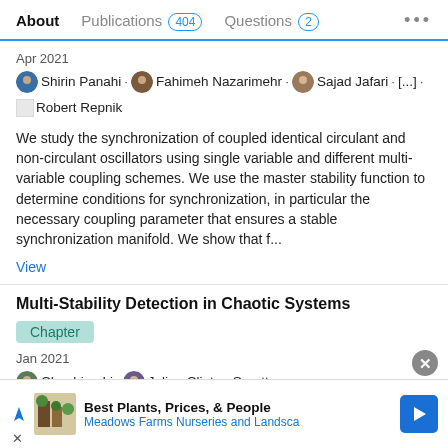About  Publications 404  Questions 2  ...
Apr 2021
Shirin Panahi · Fahimeh Nazarimehr · Sajad Jafari · [...] · Robert Repnik
We study the synchronization of coupled identical circulant and non-circulant oscillators using single variable and different multi-variable coupling schemes. We use the master stability function to determine conditions for synchronization, in particular the necessary coupling parameter that ensures a stable synchronization manifold. We show that f...
View
Multi-Stability Detection in Chaotic Systems
Chapter
Jan 2021
Chunbiao Li · Julien Clinton Sprott
Advertisement
Best Plants, Prices, & People
Meadows Farms Nurseries and Landsca